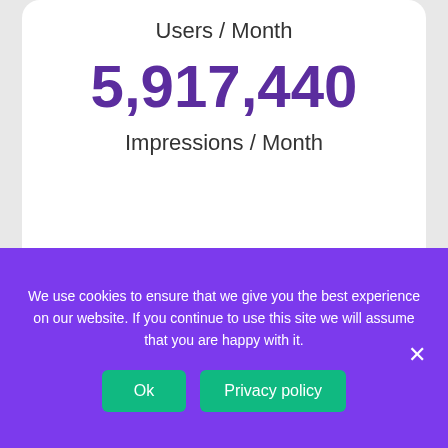Users / Month
5,917,440
Impressions / Month
[Figure (photo): Partial view of a dark-themed card showing 'Charjah / الشارقة' text on a dark background]
We use cookies to ensure that we give you the best experience on our website. If you continue to use this site we will assume that you are happy with it.
Ok
Privacy policy